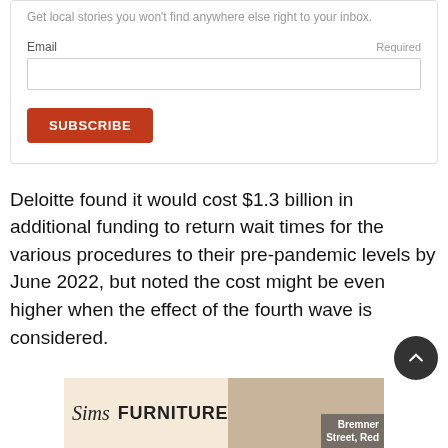Get local stories you won't find anywhere else right to your inbox.
Email
Required
SUBSCRIBE
Deloitte found it would cost $1.3 billion in additional funding to return wait times for the various procedures to their pre-pandemic levels by June 2022, but noted the cost might be even higher when the effect of the fourth wave is considered.
[Figure (other): Sims Furniture advertisement banner with logo and people sitting on a couch. Text reads: Bremner Street, Red]